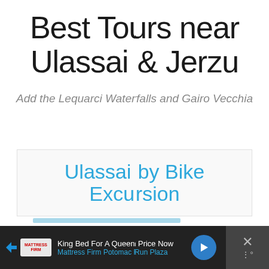Best Tours near Ulassai & Jerzu
Add the Lequarci Waterfalls and Gairo Vecchia
Ulassai by Bike Excursion
[Figure (screenshot): Advertisement banner: King Bed For A Queen Price Now - Mattress Firm Potomac Run Plaza]